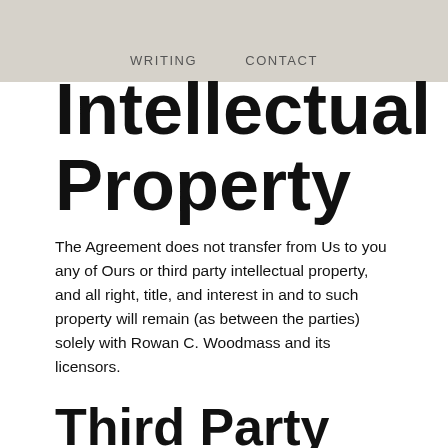WRITING   CONTACT
Intellectual Property
The Agreement does not transfer from Us to you any of Ours or third party intellectual property, and all right, title, and interest in and to such property will remain (as between the parties) solely with Rowan C. Woodmass and its licensors.
Third Party Services
In using the Services, you may use third-party services, products, software, embeds, or applications developed by a third party ("Third Party Services").